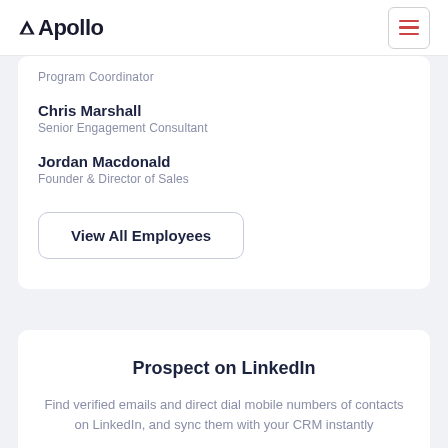Apollo
Program Coordinator
Chris Marshall
Senior Engagement Consultant
Jordan Macdonald
Founder & Director of Sales
View All Employees
Prospect on LinkedIn
Find verified emails and direct dial mobile numbers of contacts on LinkedIn, and sync them with your CRM instantly